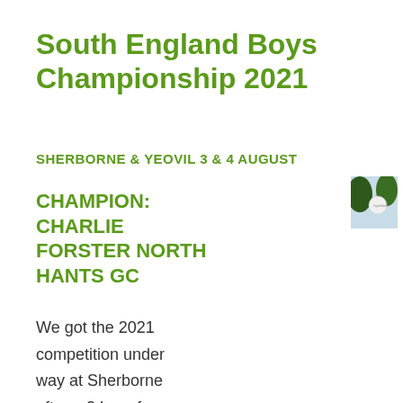South England Boys Championship 2021
SHERBORNE & YEOVIL 3 & 4 AUGUST
[Figure (photo): Photograph showing trees and a golf ball or similar sporting equipment against a light sky background]
CHAMPION: CHARLIE FORSTER NORTH HANTS GC
We got the 2021 competition under way at Sherborne after a 2 hour fog delay certainly my